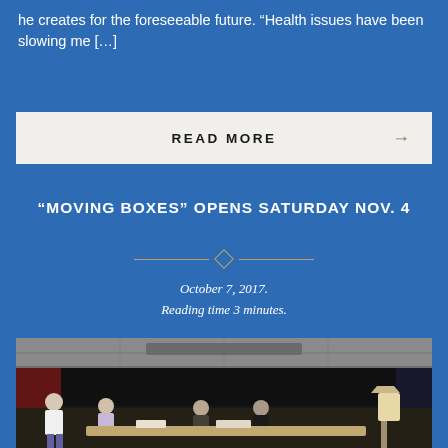he creates for the foreseeable future. “Health issues have been slowing me […]
READ MORE →
“MOVING BOXES” OPENS SATURDAY NOV. 4
October 7, 2017.
Reading time 3 minutes.
[Figure (photo): Actors on a community theater stage rehearsing; one person stands in foreground while others sit at a table on stage; dark curtains and ceiling tiles visible in background]